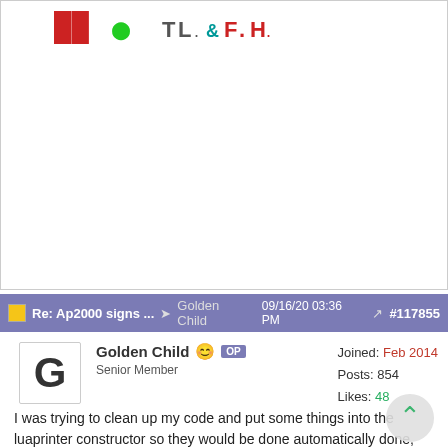[Figure (illustration): Colorful pixel/text art icons showing stylized letters and symbols in red, green, teal, and other colors at the top of the post area.]
Re: Ap2000 signs ... ➤ Golden Child 09/16/20 03:36 PM ↗ #117855
Golden Child 😊 OP
Senior Member
Joined: Feb 2014
Posts: 854
Likes: 48
I was trying to clean up my code and put some things into the luaprinter constructor so they would be done automatically done,